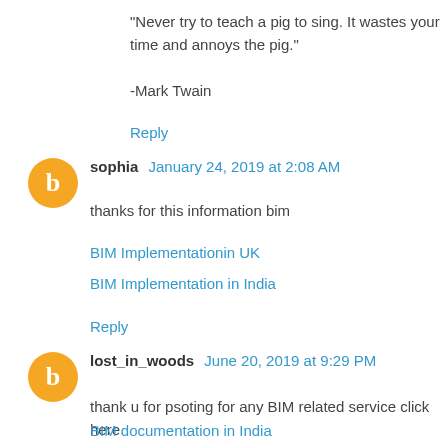"Never try to teach a pig to sing. It wastes your time and annoys the pig."
-Mark Twain
Reply
sophia  January 24, 2019 at 2:08 AM
thanks for this information bim
BIM Implementationin UK
BIM Implementation in India
Reply
lost_in_woods  June 20, 2019 at 9:29 PM
thank u for psoting for any BIM related service click here
BIM documentation in India